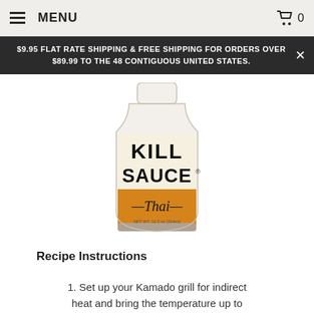MENU  0
$9.95 FLAT RATE SHIPPING & FREE SHIPPING FOR ORDERS OVER $89.99 TO THE 48 CONTIGUOUS UNITED STATES.
[Figure (photo): A bottle of Kill Sauce Thai hot sauce with a white label showing 'KILL SAUCE' in large black text and 'Thai' in script on an orange label below.]
Recipe Instructions
1. Set up your Kamado grill for indirect heat and bring the temperature up to